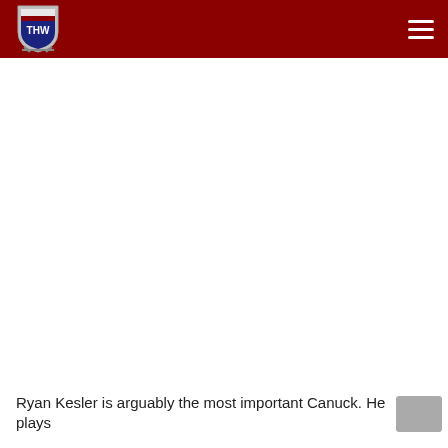THW - The Hockey Writers
[Figure (logo): THW shield logo with hockey sticks]
Ryan Kesler is arguably the most important Canuck. He plays